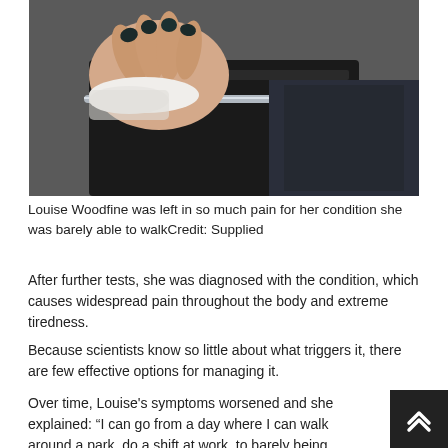[Figure (photo): Close-up photo of a person's hand with dark-painted nails resting on what appears to be a medical examination table or wheelchair, with dark padded surfaces visible]
Louise Woodfine was left in so much pain for her condition she was barely able to walkCredit: Supplied
After further tests, she was diagnosed with the condition, which causes widespread pain throughout the body and extreme tiredness.
Because scientists know so little about what triggers it, there are few effective options for managing it.
Over time, Louise's symptoms worsened and she explained: “I can go from a day where I can walk around a park, do a shift at work, to barely being able to move from my home.”